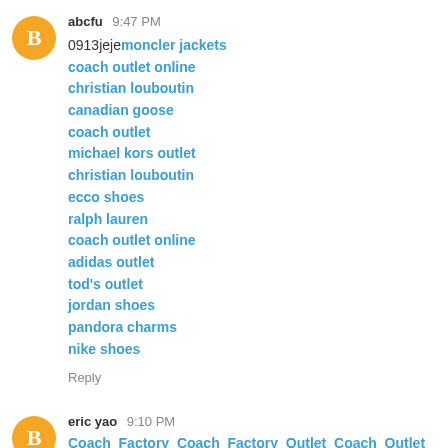abcfu 9:47 PM
0913jejemoncler jackets
coach outlet online
christian louboutin
canadian goose
coach outlet
michael kors outlet
christian louboutin
ecco shoes
ralph lauren
coach outlet online
adidas outlet
tod's outlet
jordan shoes
pandora charms
nike shoes
Reply
eric yao 9:10 PM
Coach Factory Coach Factory Outlet Coach Outlet